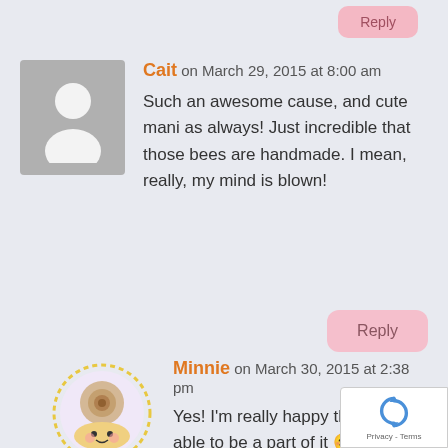Reply
[Figure (illustration): Gray placeholder avatar with silhouette of a person]
Cait on March 29, 2015 at 8:00 am
Such an awesome cause, and cute mani as always! Just incredible that those bees are handmade. I mean, really, my mind is blown!
Reply
[Figure (illustration): Minnie avatar: round cartoon character with yellow dotted border circle]
Minnie on March 30, 2015 at 2:38 pm
Yes! I'm really happy that I was able to be a part of it 😊 And how sweet of you to give me such a wonderful comment! You totally made my day!
[Figure (logo): Google reCAPTCHA badge with spinning arrows logo and Privacy - Terms text]